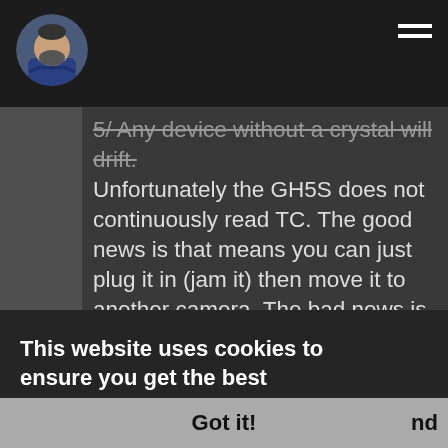[Figure (photo): Navigation bar with circular avatar photo of a bearded man in blue shirt on left and hamburger menu icon on right, dark background]
5/ Any device without a crystal will drift. Unfortunately the GH5S does not continuously read TC. The good news is that means you can just plug it in (jam it) then move it to another camera. The bad news is that you have to do that every so often. 30 minutes sounds extreme but to be fair I've never critically tested it.
* Thank you!
This website uses cookies to ensure you get the best experience on our website.
Learn more
Got it!
nd
detailed response! About my first question, I was